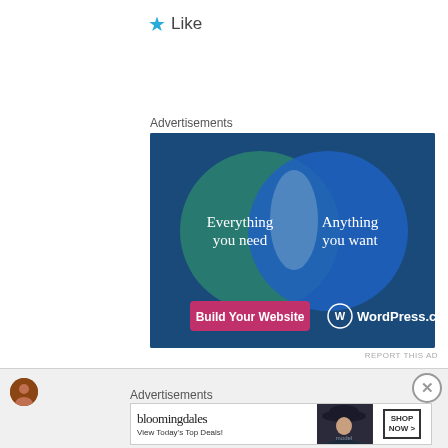[Figure (other): Like button with blue star icon and 'Like' text]
Advertisements
[Figure (infographic): WordPress.com advertisement featuring a Venn diagram with two overlapping circles on a dark blue background. Left circle (teal/green) says 'Everything you need', right circle (blue) says 'Anything you want'. Pink button reads 'Build Your Website'. WordPress.com logo and name at bottom right.]
REPORT THIS AD
Advertisements
[Figure (infographic): Bloomingdales advertisement with logo, tagline 'View Today's Top Deals!', woman in hat photo, and 'SHOP NOW >' button]